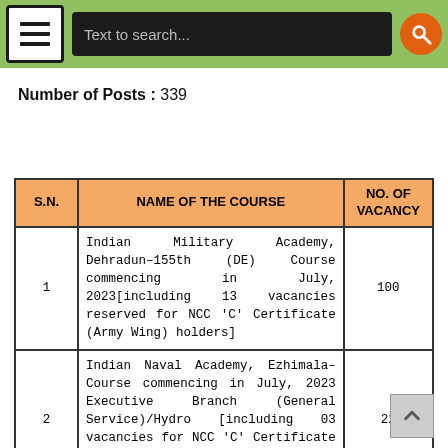Name of the Exam : Combined Defence Services (CDS) Exam II 202...
Number of Posts : 339
| S.N. | NAME OF THE COURSE | NO. OF VACANCY |
| --- | --- | --- |
| 1 | Indian Military Academy, Dehradun–155th (DE) Course commencing in July, 2023[including 13 vacancies reserved for NCC 'C' Certificate (Army Wing) holders] | 100 |
| 2 | Indian Naval Academy, Ezhimala–Course commencing in July, 2023 Executive Branch (General Service)/Hydro [including 03 vacancies for NCC 'C' Certificate (Naval Wing through NCC Special Entry) holders]. | 22 |
| 3 | Air Force Academy, Hyderabad–(Pre-Flying) Training Course commencing in July, 2023 i.e. No. 214 F (P) Course. [including 03 vacancies are reserved for NCC 'C' Certificate (Air Wing) holders through NCC S... Entry] | 32 |